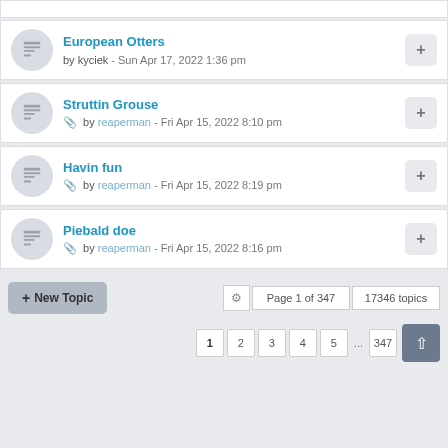European Otters by kyciek - Sun Apr 17, 2022 1:36 pm
Struttin Grouse by reaperman - Fri Apr 15, 2022 8:10 pm
Havin fun by reaperman - Fri Apr 15, 2022 8:19 pm
Piebald doe by reaperman - Fri Apr 15, 2022 8:16 pm
+ New Topic  Page 1 of 347  17346 topics  1 2 3 4 5 ... 347